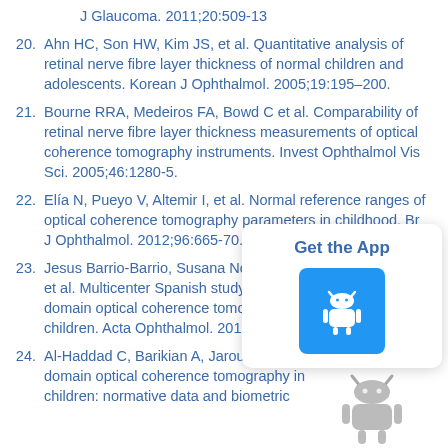J Glaucoma. 2011;20:509-13
20. Ahn HC, Son HW, Kim JS, et al. Quantitative analysis of retinal nerve fibre layer thickness of normal children and adolescents. Korean J Ophthalmol. 2005;19:195–200.
21. Bourne RRA, Medeiros FA, Bowd C et al. Comparability of retinal nerve fibre layer thickness measurements of optical coherence tomography instruments. Invest Ophthalmol Vis Sci. 2005;46:1280-5.
22. Elía N, Pueyo V, Altemir I, et al. Normal reference ranges of optical coherence tomography parameters in childhood. Br J Ophthalmol. 2012;96:665-70.
23. Jesus Barrio-Barrio, Susana Noval, Mart… et al. Multicenter Spanish study of spe… domain optical coherence tomography… children. Acta Ophthalmol. 2013;91:56-6…
24. Al-Haddad C, Barikian A, Jaroudi M et a… domain optical coherence tomography in children: normative data and biometric…